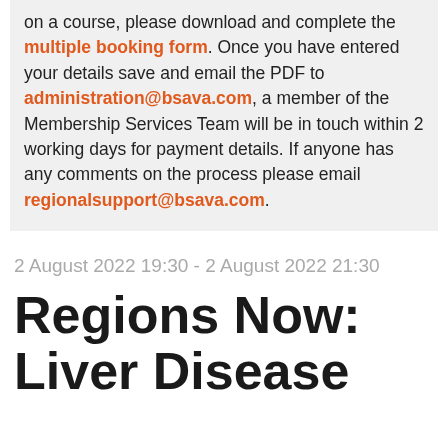on a course, please download and complete the multiple booking form. Once you have entered your details save and email the PDF to administration@bsava.com, a member of the Membership Services Team will be in touch within 2 working days for payment details. If anyone has any comments on the process please email regionalsupport@bsava.com.
2 August 2022 19:30 - 2 August 2022 21:30
Regions Now: Liver Disease